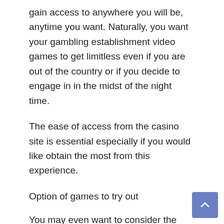gain access to anywhere you will be, anytime you want. Naturally, you want your gambling establishment video games to get limitless even if you are out of the country or if you decide to engage in in the midst of the night time.
The ease of access from the casino site is essential especially if you would like obtain the most from this experience.
Option of games to try out
You may even want to consider the accessible games the site offers. The greater online games the internet site will offer, the better. Their online games should never just be limited